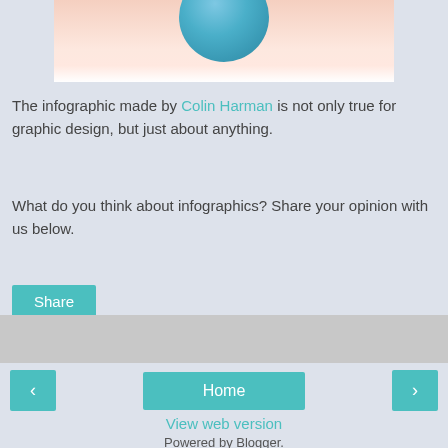[Figure (illustration): Partial view of an infographic with a blue circle and peach/pink gradient background, cropped at top of page]
The infographic made by Colin Harman is not only true for graphic design, but just about anything.
What do you think about infographics? Share your opinion with us below.
Share
Home
View web version
Powered by Blogger.